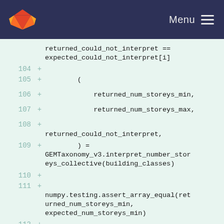GitLab navigation bar with logo and Menu button
[Figure (screenshot): GitLab code diff view showing Python test code lines 104-112 with added lines (green background). Code includes returned_could_not_interpret == expected_could_not_interpret[i], tuple unpacking of returned_num_storeys_min, returned_num_storeys_max, returned_could_not_interpret from GEMTaxonomy_v3.interpret_number_storeys_collective(building_classes), and numpy.testing.assert_array_equal calls for returned_num_storeys_min, returned_num_storeys_max, and expected_num_storeys_max.]